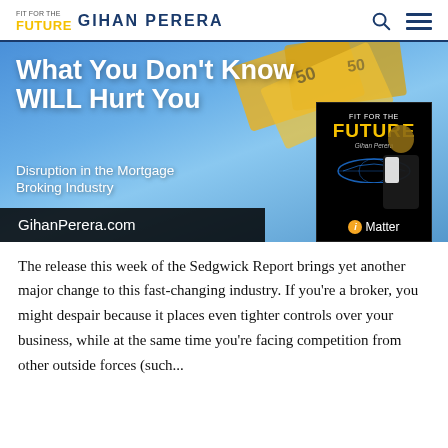Fit For The FUTURE Gihan Perera
[Figure (illustration): Banner image showing 'What You Don't Know WILL Hurt You – Disruption in the Mortgage Broking Industry – GihanPerera.com' with Australian currency notes background and a 'Fit For The Future' book cover inset by Gihan Perera, iMatter branding.]
The release this week of the Sedgwick Report brings yet another major change to this fast-changing industry. If you're a broker, you might despair because it places even tighter controls over your business, while at the same time you're facing competition from other outside forces (such...